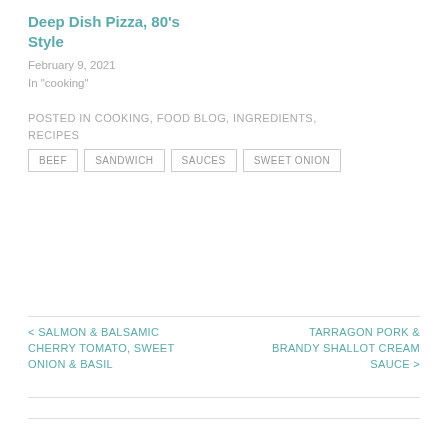Deep Dish Pizza, 80's Style
February 9, 2021
In "cooking"
POSTED IN COOKING, FOOD BLOG, INGREDIENTS, RECIPES
BEEF
SANDWICH
SAUCES
SWEET ONION
< SALMON & BALSAMIC CHERRY TOMATO, SWEET ONION & BASIL
TARRAGON PORK & BRANDY SHALLOT CREAM SAUCE >